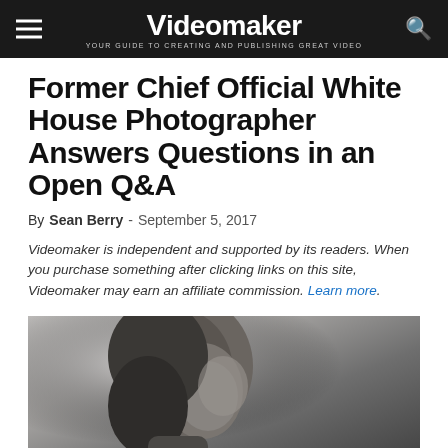Videomaker - YOUR GUIDE TO CREATING AND PUBLISHING GREAT VIDEO
Former Chief Official White House Photographer Answers Questions in an Open Q&A
By Sean Berry - September 5, 2017
Videomaker is independent and supported by its readers. When you purchase something after clicking links on this site, Videomaker may earn an affiliate commission. Learn more.
[Figure (photo): Black and white photograph of a man in profile/three-quarter view, looking downward, appearing to be in a formal setting.]